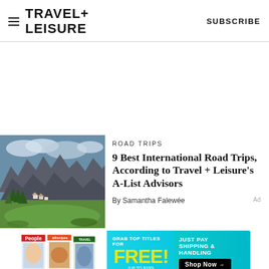TRAVEL+ LEISURE   SUBSCRIBE
[Figure (photo): Mountain landscape with dramatic rocky peaks, green valley, trees, and small village below cloudy sky — Dolomites style scenery]
ROAD TRIPS
9 Best International Road Trips, According to Travel + Leisure's A-List Advisors
By Samantha Falewée
[Figure (photo): Advertisement banner: People and allrecipes magazines. Grab top titles for FREE! (up to $100). Just pay shipping & handling. Shop Now →]